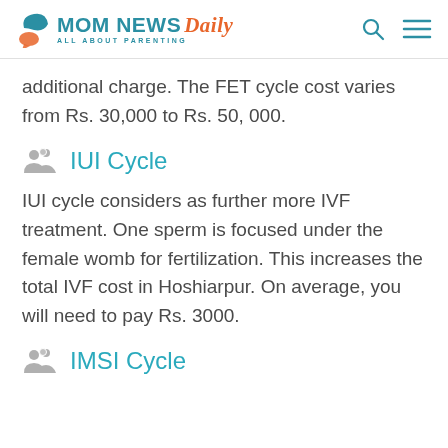MOM NEWS Daily — ALL ABOUT PARENTING
additional charge. The FET cycle cost varies from Rs. 30,000 to Rs. 50, 000.
IUI Cycle
IUI cycle considers as further more IVF treatment. One sperm is focused under the female womb for fertilization. This increases the total IVF cost in Hoshiarpur. On average, you will need to pay Rs. 3000.
IMSI Cycle